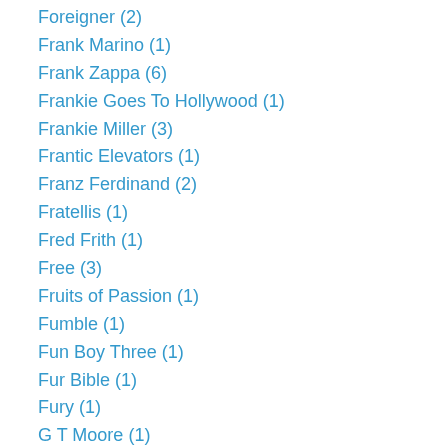Foreigner (2)
Frank Marino (1)
Frank Zappa (6)
Frankie Goes To Hollywood (1)
Frankie Miller (3)
Frantic Elevators (1)
Franz Ferdinand (2)
Fratellis (1)
Fred Frith (1)
Free (3)
Fruits of Passion (1)
Fumble (1)
Fun Boy Three (1)
Fur Bible (1)
Fury (1)
G T Moore (1)
Gallagher & Lyle (2)
Gamma (1)
Gang of Four (2)
Gareth Gates (1)